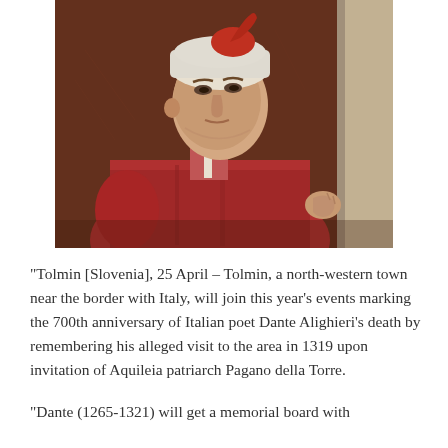[Figure (illustration): Renaissance-style portrait painting of Italian poet Dante Alighieri, wearing a red robe and white cap with red detail, shown from mid-torso up, facing slightly right, with a stone pillar visible on the right side.]
“Tolmin [Slovenia], 25 April – Tolmin, a north-western town near the border with Italy, will join this year’s events marking the 700th anniversary of Italian poet Dante Alighieri’s death by remembering his alleged visit to the area in 1319 upon invitation of Aquileia patriarch Pagano della Torre.
“Dante (1265-1321) will get a memorial board with